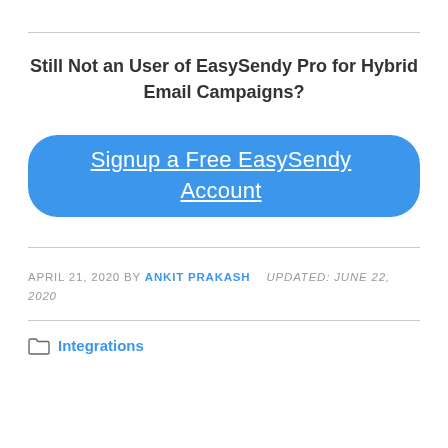Still Not an User of EasySendy Pro for Hybrid Email Campaigns?
Signup a Free EasySendy Account
APRIL 21, 2020 BY ANKIT PRAKASH   UPDATED: JUNE 22, 2020
Integrations